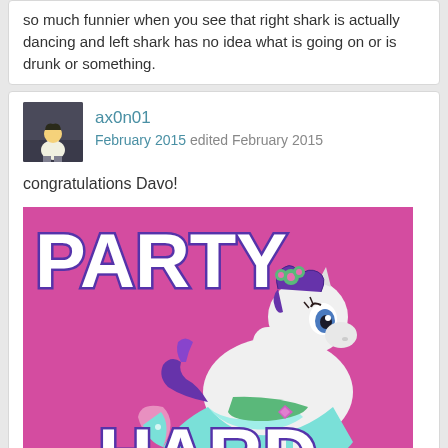so much funnier when you see that right shark is actually dancing and left shark has no idea what is going on or is drunk or something.
ax0n01
February 2015 edited February 2015
congratulations Davo!
[Figure (illustration): A My Little Pony character (Rarity) dressed in a teal gala dress with floral accessories, on a magenta/pink background with large white bold text reading 'PARTY' at top and 'HARD' at the bottom (partially visible).]